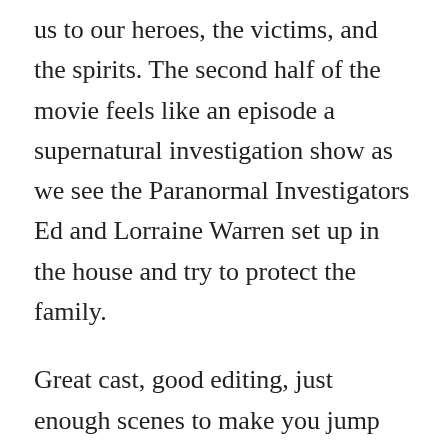us to our heroes, the victims, and the spirits. The second half of the movie feels like an episode a supernatural investigation show as we see the Paranormal Investigators Ed and Lorraine Warren set up in the house and try to protect the family.
Great cast, good editing, just enough scenes to make you jump and all your hair WILL stand on end. I am not a fan of this genre (because I am a wuss), but I would watch this again. Destined to be a classic for Halloween night and sleepover parties.
Grand Budapest Hotel — 3.5 stars — This was